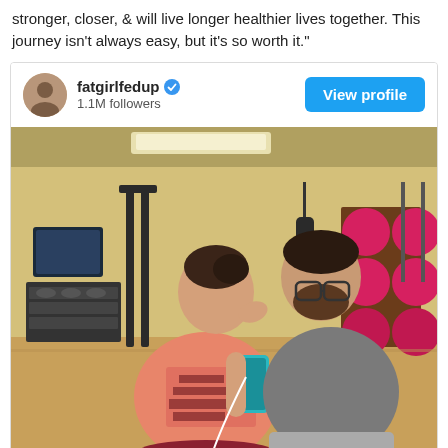stronger, closer, & will live longer healthier lives together. This journey isn't always easy, but it's so worth it."
[Figure (screenshot): Instagram profile card for @fatgirlfedup with 1.1M followers and a 'View profile' button, showing a couple kissing in a gym mirror selfie. The woman is wearing a pink/coral long-sleeve shirt and the man a gray t-shirt.]